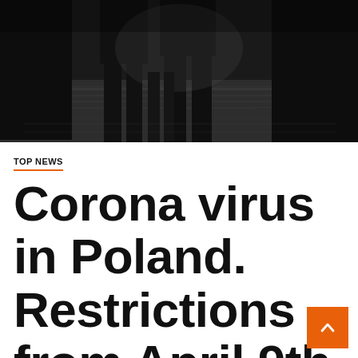[Figure (photo): Silhouettes of people walking in a public space, dark/moody lighting, shot from low angle showing legs and feet on a reflective surface]
TOP NEWS
Corona virus in Poland. Restrictions from April 9th to 18th. The rule